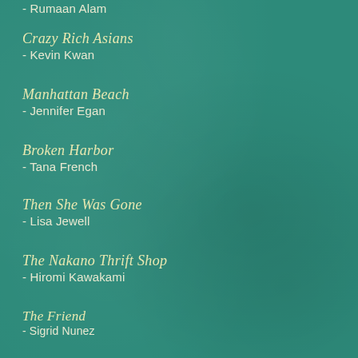- Rumaan Alam
Crazy Rich Asians
- Kevin Kwan
Manhattan Beach
- Jennifer Egan
Broken Harbor
- Tana French
Then She Was Gone
- Lisa Jewell
The Nakano Thrift Shop
- Hiromi Kawakami
The Friend
- Sigrid Nunez
The Incendiaries
- R.O. Kwon
If You Leave Me
- Crystal Hana Kim